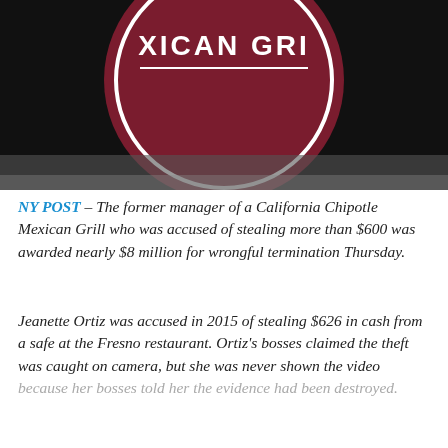[Figure (photo): Chipotle Mexican Grill sign/logo partially visible, circular red sign with white text on dark background]
NY POST – The former manager of a California Chipotle Mexican Grill who was accused of stealing more than $600 was awarded nearly $8 million for wrongful termination Thursday.
Jeanette Ortiz was accused in 2015 of stealing $626 in cash from a safe at the Fresno restaurant. Ortiz's bosses claimed the theft was caught on camera, but she was never shown the video because her bosses told her the evidence had been destroyed.